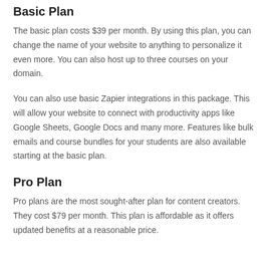Basic Plan
The basic plan costs $39 per month. By using this plan, you can change the name of your website to anything to personalize it even more. You can also host up to three courses on your domain.
You can also use basic Zapier integrations in this package. This will allow your website to connect with productivity apps like Google Sheets, Google Docs and many more. Features like bulk emails and course bundles for your students are also available starting at the basic plan.
Pro Plan
Pro plans are the most sought-after plan for content creators. They cost $79 per month. This plan is affordable as it offers updated benefits at a reasonable price.